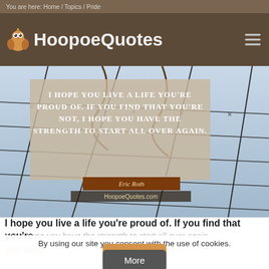You are here: Home / Topics / Pride
[Figure (logo): HoopoeQuotes logo with owl icon]
[Figure (photo): Barbed wire fence against a light sky background with an inspirational quote overlay box reading: I HOPE YOU LIVE A LIFE YOU'RE PROUD OF. IF YOU FIND THAT YOU'RE NOT, I HOPE YOU HAVE THE STRENGTH TO START ALL OVER AGAIN. Attribution ribbon: Eric Roth. Site watermark: HoopoeQuotes.com]
I hope you live a life you're proud of. If you find that you're not, I hope you have the strength to start all over again.
By using our site you consent with the use of cookies.
Eric Roth
Close
More